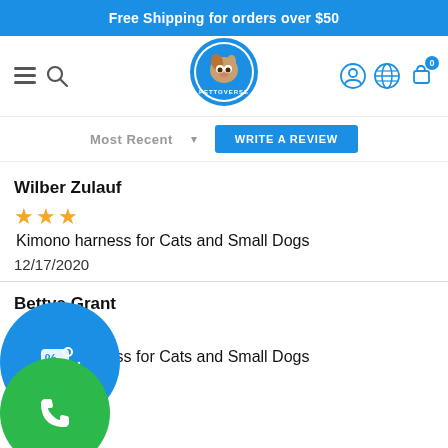Free Shipping for orders over $50
[Figure (logo): Pettoverse pet store logo - blue circle with dog/cat illustration]
Most Recent • WRITE A REVIEW
Wilber Zulauf
★★★ Kimono harness for Cats and Small Dogs
12/17/2020
Bettye Grant
★★ Kimono harness for Cats and Small Dogs